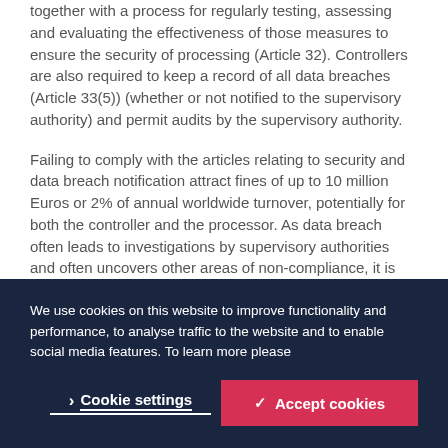together with a process for regularly testing, assessing and evaluating the effectiveness of those measures to ensure the security of processing (Article 32). Controllers are also required to keep a record of all data breaches (Article 33(5)) (whether or not notified to the supervisory authority) and permit audits by the supervisory authority.
Failing to comply with the articles relating to security and data breach notification attract fines of up to 10 million Euros or 2% of annual worldwide turnover, potentially for both the controller and the processor. As data breach often leads to investigations by supervisory authorities and often uncovers other areas of non-compliance, it is quite possible that fines of up to 20 million Euros or 4% of
We use cookies on this website to improve functionality and performance, to analyse traffic to the website and to enable social media features. To learn more please